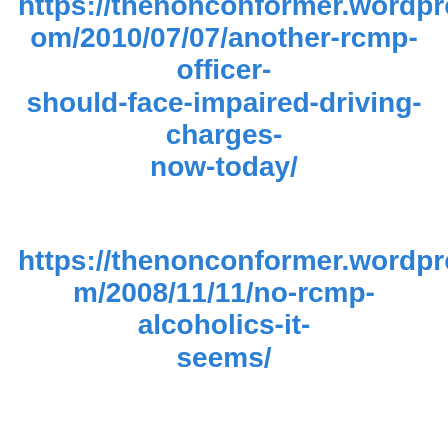https://thenonconformer.wordpress.com/2010/07/07/another-rcmp-officer-should-face-impaired-driving-charges-now-today/
https://thenonconformer.wordpress.com/2008/11/11/no-rcmp-alcoholics-it-seems/